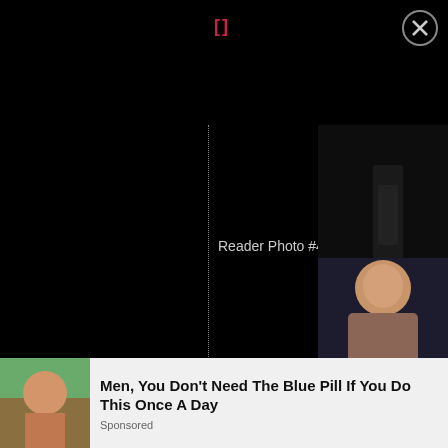[]
[Figure (photo): Dark UI with reader photo viewer interface showing close button, dotted vertical line divider, two thumbnail images on the right side, and a label 'Reader Photo #4']
Reader Photo #4
[Figure (photo): Advertisement banner: Men, You Don't Need The Blue Pill If You Do This Once A Day - Sponsored]
Men, You Don't Need The Blue Pill If You Do This Once A Day
Sponsored